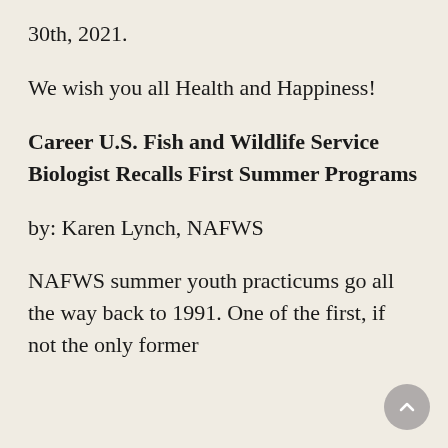30th, 2021.
We wish you all Health and Happiness!
Career U.S. Fish and Wildlife Service Biologist Recalls First Summer Programs
by: Karen Lynch, NAFWS
NAFWS summer youth practicums go all the way back to 1991. One of the first, if not the only former